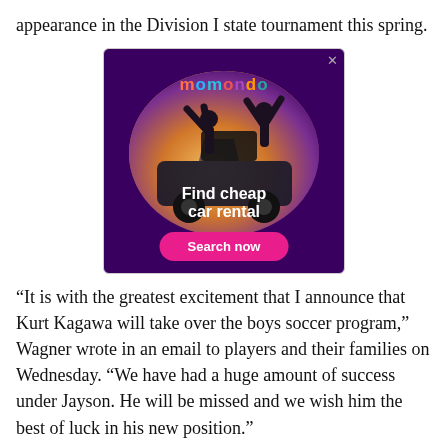appearance in the Division I state tournament this spring.
[Figure (photo): Momondo advertisement showing two people in a car with arms raised, circular image, purple background, text 'Find cheap car rental' with pink 'Search now' button]
“It is with the greatest excitement that I announce that Kurt Kagawa will take over the boys soccer program,” Wagner wrote in an email to players and their families on Wednesday. “We have had a huge amount of success under Jayson. He will be missed and we wish him the best of luck in his new position.”